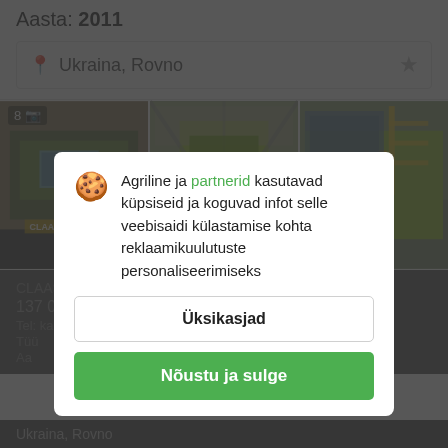Aasta: 2011
Ukraina, Rovno
[Figure (photo): Three photos of CLAAS combine harvester machinery inside a barn/warehouse, showing green agricultural equipment]
Agriline ja partnerid kasutavad küpsiseid ja koguvad infot selle veebisaidi külastamise kohta reklaamikuulutuste personaliseerimiseks
Üksikasjad
Nõustu ja sulge
Ukraina, Rovno